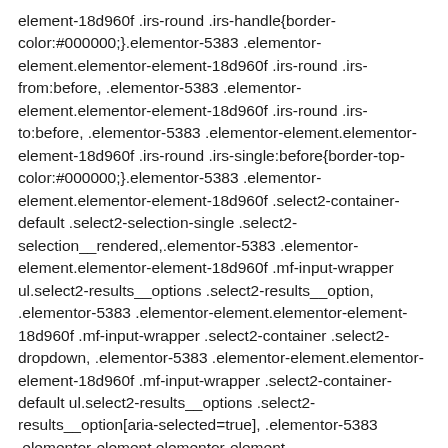element-18d960f .irs-round .irs-handle{border-color:#000000;}.elementor-5383 .elementor-element.elementor-element-18d960f .irs-round .irs-from:before, .elementor-5383 .elementor-element.elementor-element-18d960f .irs-round .irs-to:before, .elementor-5383 .elementor-element.elementor-element-18d960f .irs-round .irs-single:before{border-top-color:#000000;}.elementor-5383 .elementor-element.elementor-element-18d960f .select2-container-default .select2-selection-single .select2-selection__rendered,.elementor-5383 .elementor-element.elementor-element-18d960f .mf-input-wrapper ul.select2-results__options .select2-results__option, .elementor-5383 .elementor-element.elementor-element-18d960f .mf-input-wrapper .select2-container .select2-dropdown, .elementor-5383 .elementor-element.elementor-element-18d960f .mf-input-wrapper .select2-container-default ul.select2-results__options .select2-results__option[aria-selected=true], .elementor-5383 .elementor-element.elementor-element-18d960f